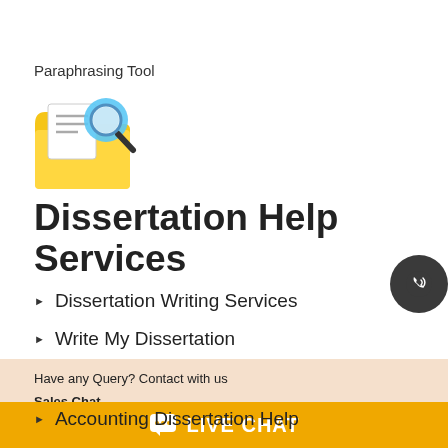Paraphrasing Tool
[Figure (illustration): Folder with magnifying glass icon — yellow folder with a document and a blue magnifying glass on top]
Dissertation Help Services
Dissertation Writing Services
Write My Dissertation
Have any Query? Contact with us
Sales Chat
(New Assignment Inquiry)
Support Chat
(Assignment Already Booked)
Accounting Dissertation Help
LIVE CHAT